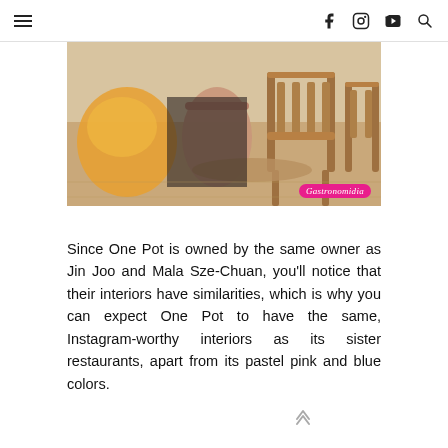≡  [facebook] [instagram] [youtube] [search]
[Figure (photo): Interior of a restaurant showing wooden chairs around tables, with warm brown tones and a blurred background. Watermark 'Gastronomidia' in pink cursive at bottom-right.]
Since One Pot is owned by the same owner as Jin Joo and Mala Sze-Chuan, you'll notice that their interiors have similarities, which is why you can expect One Pot to have the same, Instagram-worthy interiors as its sister restaurants, apart from its pastel pink and blue colors.